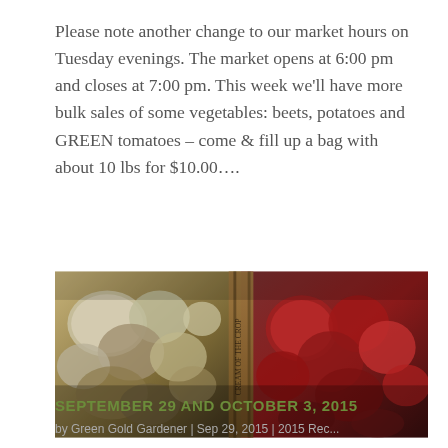Please note another change to our market hours on Tuesday evenings. The market opens at 6:00 pm and closes at 7:00 pm. This week we'll have more bulk sales of some vegetables: beets, potatoes and GREEN tomatoes – come & fill up a bag with about 10 lbs for $10.00….
[Figure (photo): Two wooden crates side by side: left crate contains light-skinned potatoes or turnips, right crate contains red-skinned potatoes or beets, photographed in warm dim lighting.]
SEPTEMBER 29 AND OCTOBER 3, 2015
by Green Gold Gardener | Sep 29, 2015 | 2015 Recap...